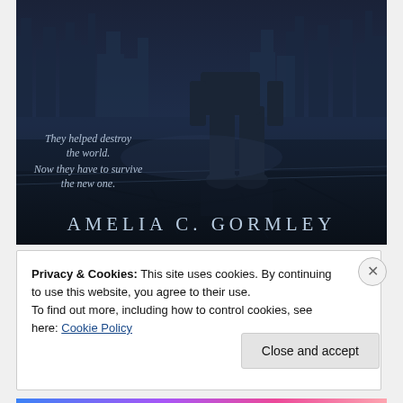[Figure (illustration): Book cover for a novel by Amelia C. Gormley. Dark dystopian imagery: a figure in military/tactical gear standing on cracked ground with barbed wire, a ruined cityscape in the background, all in dark blue-grey tones. Tagline reads 'They helped destroy the world. Now they have to survive the new one.' Author name 'AMELIA C. GORMLEY' displayed at the bottom in spaced capitals.]
Privacy & Cookies: This site uses cookies. By continuing to use this website, you agree to their use.
To find out more, including how to control cookies, see here: Cookie Policy
Close and accept